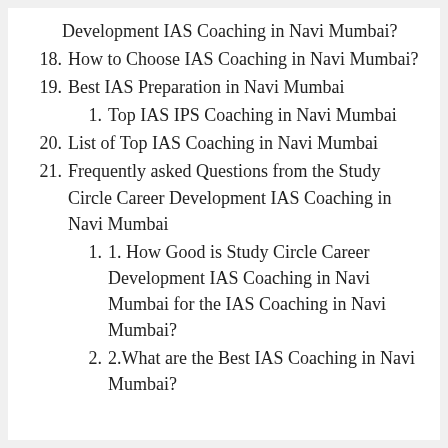Development IAS Coaching in Navi Mumbai?
18. How to Choose IAS Coaching in Navi Mumbai?
19. Best IAS Preparation in Navi Mumbai
1. Top IAS IPS Coaching in Navi Mumbai
20. List of Top IAS Coaching in Navi Mumbai
21. Frequently asked Questions from the Study Circle Career Development IAS Coaching in Navi Mumbai
1. 1. How Good is Study Circle Career Development IAS Coaching in Navi Mumbai for the IAS Coaching in Navi Mumbai?
2. 2.What are the Best IAS Coaching in Navi Mumbai?